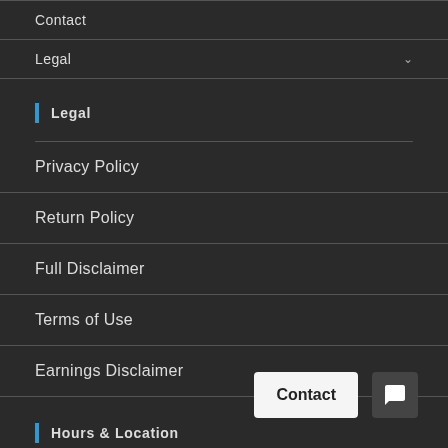Contact
Legal
Legal
Privacy Policy
Return Policy
Full Disclaimer
Terms of Use
Earnings Disclaimer
Hours & Location
10464 N. Government Way